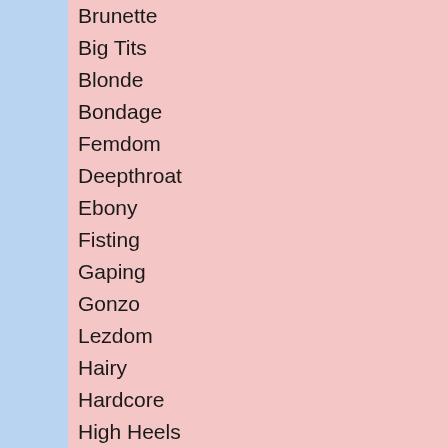Brunette
Big Tits
Blonde
Bondage
Femdom
Deepthroat
Ebony
Fisting
Gaping
Gonzo
Lezdom
Hairy
Hardcore
High Heels
Interracial
Lingerie
Latina
Milf
Masturbation
Spanking
Strapon
Oral
Fetish
Gang Bang
Olivia got in a car with Si broken, but she should h helpless to resist him so release, though. When h fill her days. In between her daily chores. Her life